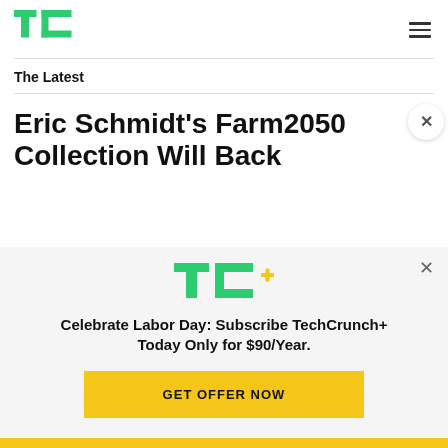TechCrunch
The Latest
Eric Schmidt's Farm2050 Collection Will Back...
[Figure (logo): TC+ logo with green TC letters and yellow plus sign]
Celebrate Labor Day: Subscribe TechCrunch+ Today Only for $90/Year.
GET OFFER NOW